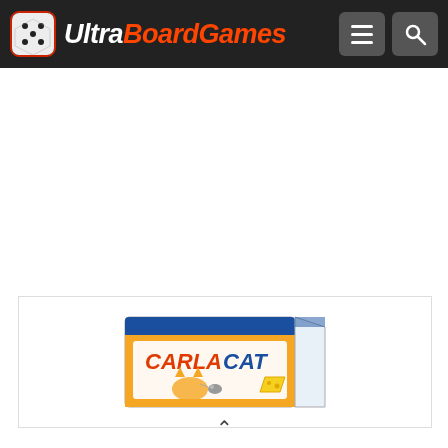UltraBoardGames
[Figure (photo): Carla Cat board game box product image, showing colorful box art with a cat character and text 'CARLA CAT']